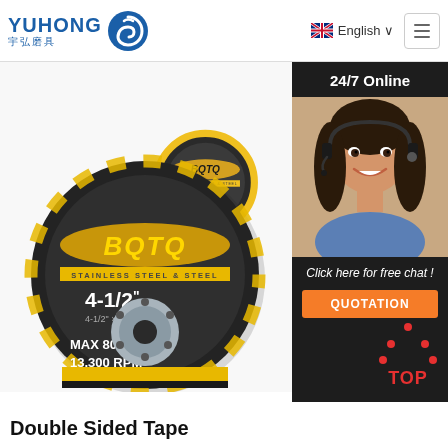[Figure (logo): Yuhong logo with Chinese characters 宇弘磨具 and blue swirl icon]
[Figure (screenshot): Navigation bar with English language selector and hamburger menu]
[Figure (photo): BQTQ Metal/Stainless Cut-Off Wheel grinding discs, 4-1/2 inch, MAX 80m/s 13,300 RPM, on white background]
[Figure (photo): 24/7 Online chat representative - woman with headset smiling]
Click here for free chat !
QUOTATION
[Figure (illustration): TOP button with red dot triangle and TOP text in red]
Double Sided Tape